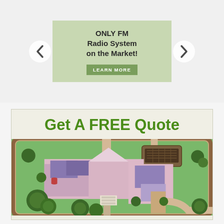[Figure (infographic): Navigation banner with left and right arrow buttons and a green promotional box saying 'ONLY FM Radio System on the Market!' with a Learn More button]
Get A FREE Quote
[Figure (illustration): Aerial view illustration of a residential property with a house floor plan, driveway, trees, and landscaping shown from above. The house has purple and pink roof sections on a green lawn with a brown border road around the property.]